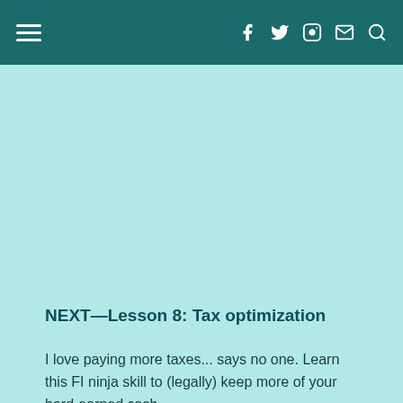Navigation header with hamburger menu and social icons (Facebook, Twitter, Instagram, Email, Search)
NEXT—Lesson 8: Tax optimization
I love paying more taxes... says no one. Learn this FI ninja skill to (legally) keep more of your hard-earned cash.